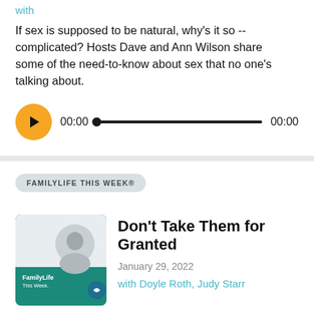with
If sex is supposed to be natural, why's it so -- complicated? Hosts Dave and Ann Wilson share some of the need-to-know about sex that no one's talking about.
[Figure (other): Audio player with play button, progress bar at 00:00, and end time 00:00]
FAMILYLIFE THIS WEEK®
[Figure (photo): FamilyLife This Week podcast cover art showing a woman sitting, with FamilyLife This Week branding and teal/green accent]
Don't Take Them for Granted
January 29, 2022
with Doyle Roth, Judy Starr
If you take your spouse for granted, and they do...